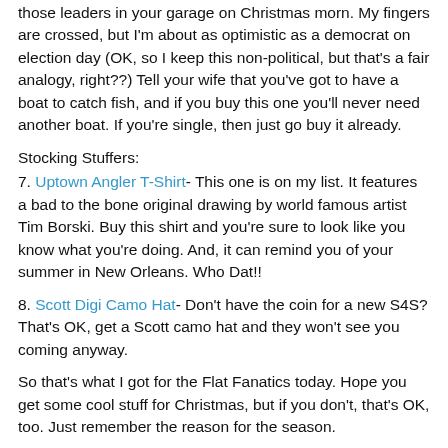those leaders in your garage on Christmas morn. My fingers are crossed, but I'm about as optimistic as a democrat on election day (OK, so I keep this non-political, but that's a fair analogy, right??)  Tell your wife that you've got to have a boat to catch fish, and if you buy this one you'll never need another boat.  If you're single, then just go buy it already.
Stocking Stuffers:
7. Uptown Angler T-Shirt- This one is on my list.  It features a bad to the bone original drawing by world famous artist Tim Borski.  Buy this shirt and you're sure to look like you know what you're doing.  And, it can remind you of your summer in New Orleans.  Who Dat!!
8. Scott Digi Camo Hat- Don't have the coin for a new S4S?  That's OK, get a Scott camo hat and they won't see you coming anyway.
So that's what I got for the Flat Fanatics today.  Hope you get some cool stuff for Christmas, but if you don't, that's OK, too.  Just remember the reason for the season.
Merry Christmas!!